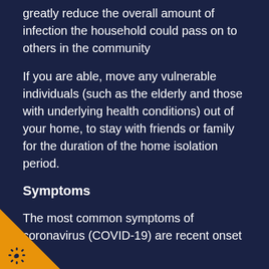greatly reduce the overall amount of infection the household could pass on to others in the community
If you are able, move any vulnerable individuals (such as the elderly and those with underlying health conditions) out of your home, to stay with friends or family for the duration of the home isolation period.
Symptoms
The most common symptoms of coronavirus (COVID-19) are recent onset of:
a new continuous cough
a high temperature
a loss of, or change in, your normal sense of taste or smell (anosmia)